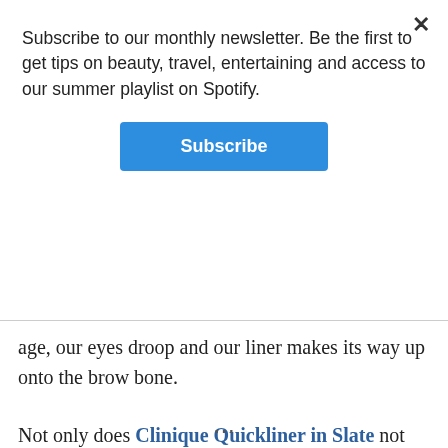Subscribe to our monthly newsletter. Be the first to get tips on beauty, travel, entertaining and access to our summer playlist on Spotify.
Subscribe
age, our eyes droop and our liner makes its way up onto the brow bone.
Not only does Clinique Quickliner in Slate not transfer when you sweat but you can swim and frolic in it as well. We chose Slate as a suggested color because it’s not as harsh as black, flattering